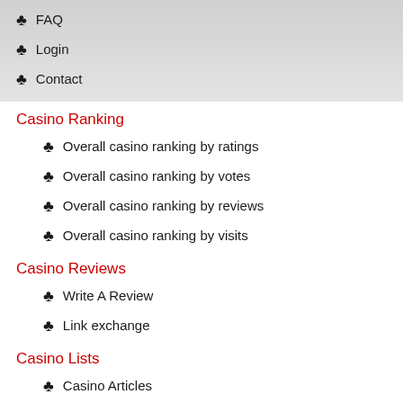♣ FAQ
♣ Login
♣ Contact
Casino Ranking
♣ Overall casino ranking by ratings
♣ Overall casino ranking by votes
♣ Overall casino ranking by reviews
♣ Overall casino ranking by visits
Casino Reviews
♣ Write A Review
♣ Link exchange
Casino Lists
♣ Casino Articles
♣ Casino Cartoons
♣ Casino Glossary
♣ Casino Search
Casino Sitemap